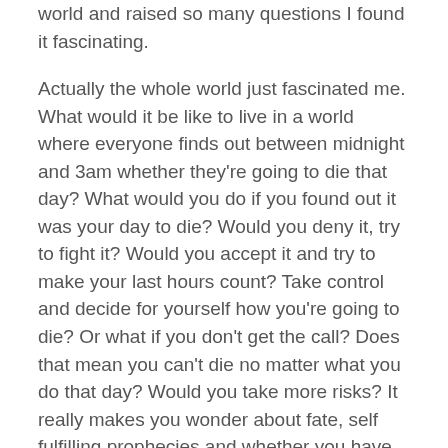world and raised so many questions I found it fascinating.
Actually the whole world just fascinated me. What would it be like to live in a world where everyone finds out between midnight and 3am whether they're going to die that day? What would you do if you found out it was your day to die? Would you deny it, try to fight it? Would you accept it and try to make your last hours count? Take control and decide for yourself how you're going to die? Or what if you don't get the call? Does that mean you can't die no matter what you do that day? Would you take more risks? It really makes you wonder about fate, self fulfilling prophecies and whether you have any control over your destiny.
The world the author creates and the way he